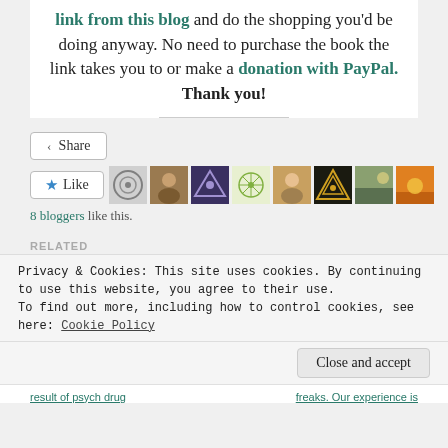link from this blog and do the shopping you'd be doing anyway. No need to purchase the book the link takes you to or make a donation with PayPal. Thank you!
[Figure (screenshot): Share button, Like button with 8 blogger avatars]
8 bloggers like this.
RELATED
Privacy & Cookies: This site uses cookies. By continuing to use this website, you agree to their use. To find out more, including how to control cookies, see here: Cookie Policy
Close and accept
result of psych drug ... freaks. Our experience is ...